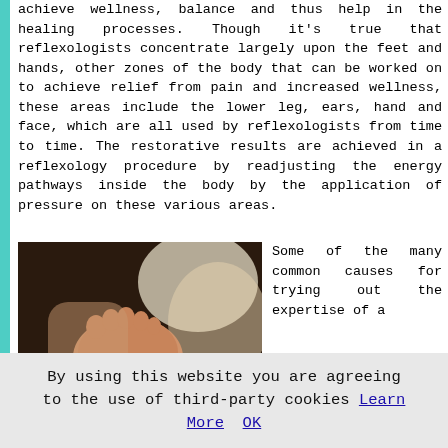achieve wellness, balance and thus help in the healing processes. Though it's true that reflexologists concentrate largely upon the feet and hands, other zones of the body that can be worked on to achieve relief from pain and increased wellness, these areas include the lower leg, ears, hand and face, which are all used by reflexologists from time to time. The restorative results are achieved in a reflexology procedure by readjusting the energy pathways inside the body by the application of pressure on these various areas.
[Figure (photo): A reflexologist performing foot massage on a client, with candles in the background]
Some of the many common causes for trying out the expertise of a
reflexologist include the likes of: IBS, pain in the
By using this website you are agreeing to the use of third-party cookies Learn More OK